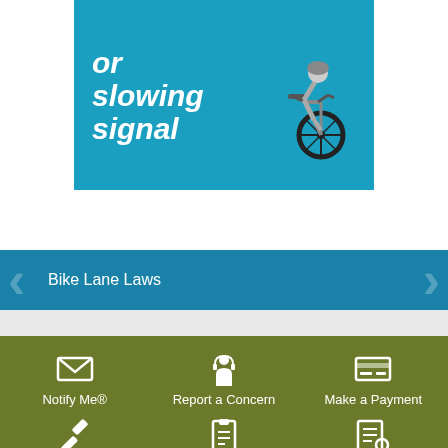[Figure (illustration): Blue promotional box showing text 'or slowing signal' in white bold italic text with a cyclist illustration on the right]
[Figure (screenshot): Navigation banner with 'Bike Lane Laws' text, left and right chevron arrows on teal/blue background]
[Figure (infographic): Olive green footer section with three icon+label items: Notify Me® (envelope icon), Report a Concern (person with headset icon), Make a Payment (dollar bill icon), and three more icons below (gavel, checklist, document search)]